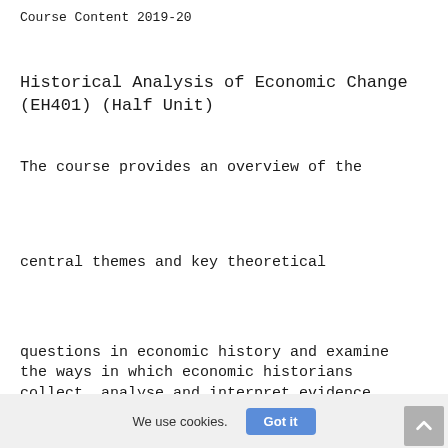Course Content 2019-20
Historical Analysis of Economic Change (EH401) (Half Unit)
The course provides an overview of the
central themes and key theoretical
questions in economic history and examine the ways in which economic historians collect, analyse and interpret evidence.
training is expected to inform dissertati
work. The specific topics evolve to refle